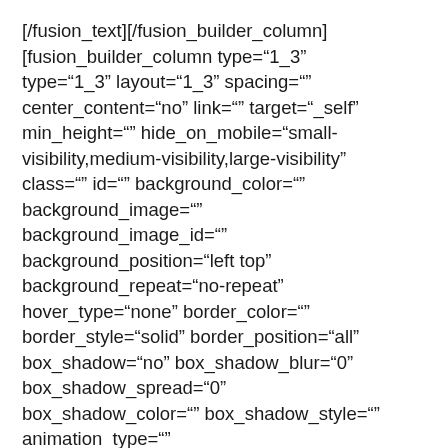[/fusion_text][/fusion_builder_column] [fusion_builder_column type="1_3" type="1_3" layout="1_3" spacing="" center_content="no" link="" target="_self" min_height="" hide_on_mobile="small-visibility,medium-visibility,large-visibility" class="" id="" background_color="" background_image="" background_image_id="" background_position="left top" background_repeat="no-repeat" hover_type="none" border_color="" border_style="solid" border_position="all" box_shadow="no" box_shadow_blur="0" box_shadow_spread="0" box_shadow_color="" box_shadow_style="" animation_type="" animation_direction="left"